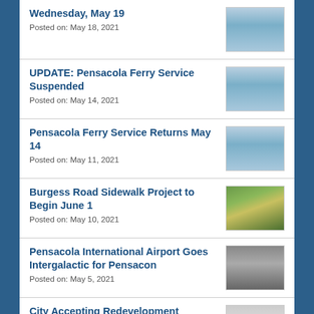Wednesday, May 19
Posted on: May 18, 2021
UPDATE: Pensacola Ferry Service Suspended
Posted on: May 14, 2021
Pensacola Ferry Service Returns May 14
Posted on: May 11, 2021
Burgess Road Sidewalk Project to Begin June 1
Posted on: May 10, 2021
Pensacola International Airport Goes Intergalactic for Pensacon
Posted on: May 5, 2021
City Accepting Redevelopment